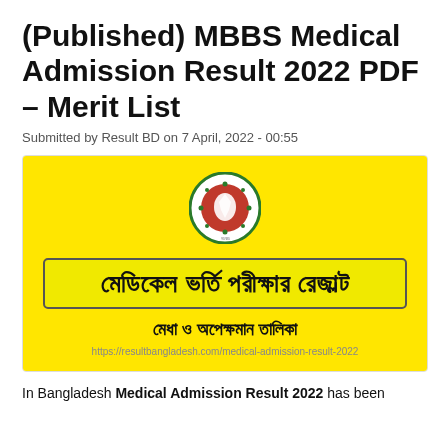(Published) MBBS Medical Admission Result 2022 PDF – Merit List
Submitted by Result BD on 7 April, 2022 - 00:55
[Figure (illustration): Yellow background image with Bangladesh government seal at top center, a bordered box with Bengali text reading 'মেডিকেল ভর্তি পরীক্ষার রেজাল্ট', subtitle Bengali text 'মেধা ও অপেক্ষমান তালিকা', and a URL at the bottom.]
In Bangladesh Medical Admission Result 2022 has been